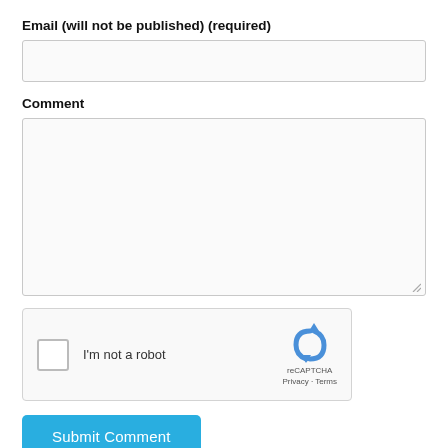Email (will not be published) (required)
[Figure (screenshot): Empty email input text field]
Comment
[Figure (screenshot): Large empty comment textarea with resize handle]
[Figure (screenshot): reCAPTCHA widget with checkbox labeled I'm not a robot and reCAPTCHA logo with Privacy and Terms links]
[Figure (screenshot): Submit Comment button in blue]